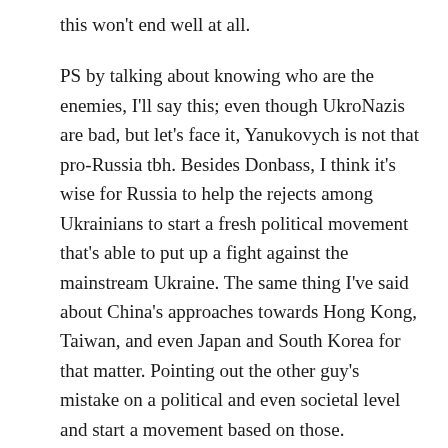this won't end well at all.
PS by talking about knowing who are the enemies, I'll say this; even though UkroNazis are bad, but let's face it, Yanukovych is not that pro-Russia tbh. Besides Donbass, I think it's wise for Russia to help the rejects among Ukrainians to start a fresh political movement that's able to put up a fight against the mainstream Ukraine. The same thing I've said about China's approaches towards Hong Kong, Taiwan, and even Japan and South Korea for that matter. Pointing out the other guy's mistake on a political and even societal level and start a movement based on those.